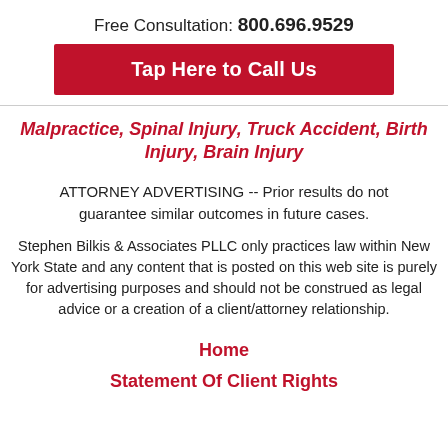Free Consultation: 800.696.9529
Tap Here to Call Us
Malpractice, Spinal Injury, Truck Accident, Birth Injury, Brain Injury
ATTORNEY ADVERTISING -- Prior results do not guarantee similar outcomes in future cases.
Stephen Bilkis & Associates PLLC only practices law within New York State and any content that is posted on this web site is purely for advertising purposes and should not be construed as legal advice or a creation of a client/attorney relationship.
Home
Statement Of Client Rights